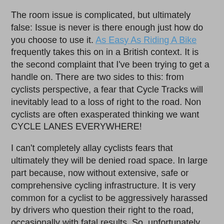The room issue is complicated, but ultimately false: Issue is never is there enough just how do you choose to use it. As Easy As Riding A Bike frequently takes this on in a British context. It is the second complaint that I've been trying to get a handle on. There are two sides to this: from cyclists perspective, a fear that Cycle Tracks will inevitably lead to a loss of right to the road. Non cyclists are often exasperated thinking we want CYCLE LANES EVERYWHERE!
I can't completely allay cyclists fears that ultimately they will be denied road space. In large part because, now without extensive, safe or comprehensive cycling infrastructure. It is very common for a cyclist to be aggressively harassed by drivers who question their right to the road, occasionally with fatal results. So, unfortunately this is a reasonable fear, especially for established cyclists who successfully brave the current environment. What I can do is address the "Cycle Lanes Everywhere" fear. After all if cycle lanes aren't meant to be everywhere cyclists can't be restricted to them. Further, if cycling infrastructure has a clear plan places where it makes sense, and places where it doesn't maybe opposition to proper, comprehensive and safe infrastructure will